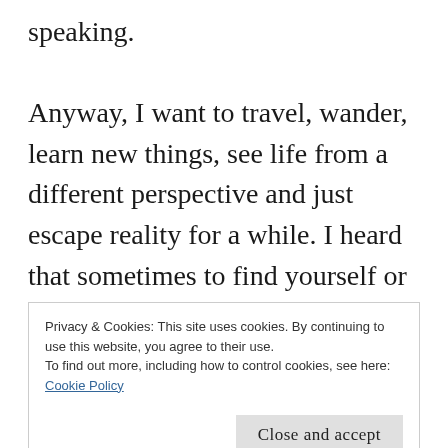speaking.

Anyway, I want to travel, wander, learn new things, see life from a different perspective and just escape reality for a while. I heard that sometimes to find yourself or what you really desire, you have to leave. And where I would just love to go, though, is to my very own province because I have already traveled outside Leyte like to Samar, Manila and of
Privacy & Cookies: This site uses cookies. By continuing to use this website, you agree to their use.
To find out more, including how to control cookies, see here: Cookie Policy
Baybay, and the rest in the southern part